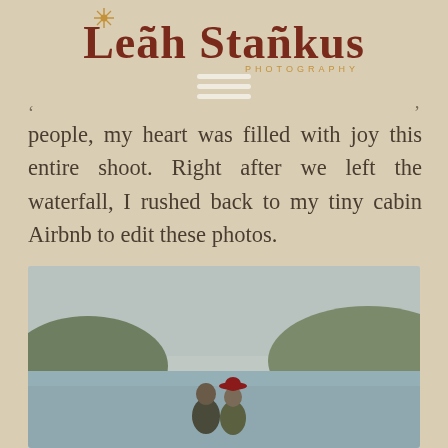[Figure (logo): Leah Stankus Photography logo with decorative sun/star element above the L, dark red serif text for the name, and gold spaced-letter subtitle]
[Figure (other): Hamburger menu icon consisting of three horizontal white/cream lines]
people, my heart was filled with joy this entire shoot. Right after we left the waterfall, I rushed back to my tiny cabin Airbnb to edit these photos.
[Figure (photo): Photograph of a couple standing near a lake or body of water with wooded hills in the background under an overcast sky. The man is on the left and the woman on the right is wearing a red hat.]